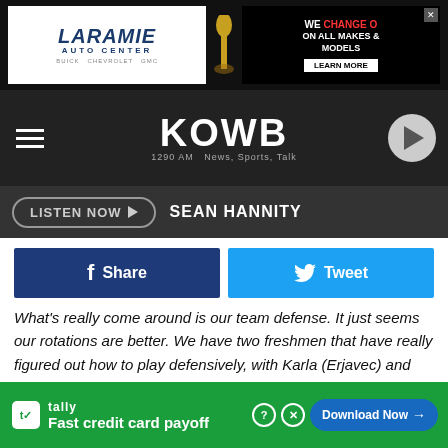[Figure (other): Laramie Auto Center advertisement banner with dealership logo and oil change image]
[Figure (logo): KOWB 1290 AM News, Sports, Talk radio station logo with navigation hamburger menu and play button]
[Figure (other): Listen Now button with Sean Hannity label]
[Figure (other): Facebook Share and Twitter Tweet social sharing buttons]
What's really come around is our team defense. It just seems our rotations are better. We have two freshmen that have really figured out how to play defensively, with Karla (Erjavec) and Quinn (Weidemann), and that's really helped us. Then, everyone else on the floor has so much experience, that they just seem to be figuring out how they want to rotate, who they want to help with, and we have ac[countable]...I,
[Figure (other): Tally app advertisement banner - Fast credit card payoff with Download Now button]